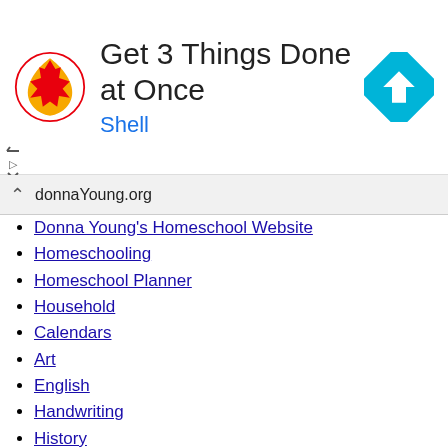[Figure (infographic): Shell advertisement banner with Shell logo, text 'Get 3 Things Done at Once', 'Shell' in blue, and a blue navigation/direction icon on the right]
donnaYoung.org
Donna Young's Homeschool Website
Homeschooling
Homeschool Planner
Household
Calendars
Art
English
Handwriting
History
Math
Science
What's New
Site Index
HS Planner Index
Art Index
English Index
All Calendar Index
Blog blog